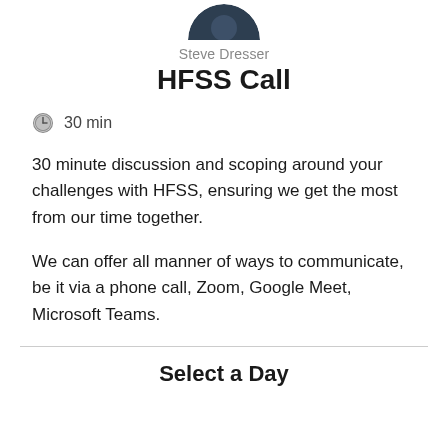[Figure (photo): Partial circular avatar photo of Steve Dresser, showing top of head with dark hair against a dark navy blue background, cropped at the top of the page.]
Steve Dresser
HFSS Call
30 min
30 minute discussion and scoping around your challenges with HFSS, ensuring we get the most from our time together.
We can offer all manner of ways to communicate, be it via a phone call, Zoom, Google Meet, Microsoft Teams.
Select a Day